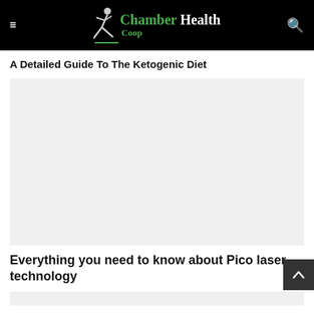Chamber Health Coop
A Detailed Guide To The Ketogenic Diet
[Figure (photo): Large placeholder image for the Ketogenic Diet article]
Everything you need to know about Pico laser technology
[Figure (photo): Small placeholder image strip at the bottom]